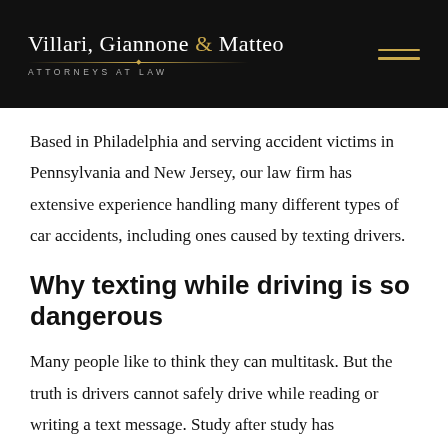Villari, Giannone & Matteo — Attorneys at Law
Based in Philadelphia and serving accident victims in Pennsylvania and New Jersey, our law firm has extensive experience handling many different types of car accidents, including ones caused by texting drivers.
Why texting while driving is so dangerous
Many people like to think they can multitask. But the truth is drivers cannot safely drive while reading or writing a text message. Study after study has